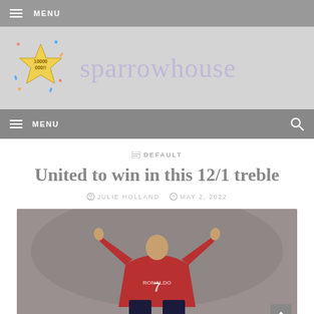MENU
[Figure (logo): Sparrowhouse website logo with a gold star containing text '10000 000!!' surrounded by colorful confetti, and the site name 'sparrowhouse' in light purple text]
MENU
DEFAULT
United to win in this 12/1 treble
JULIE HOLLAND   MAY 2, 2022
[Figure (photo): A footballer in a red Manchester United jersey with number 7 and name RONALDO, arms raised upward, viewed from behind, in a stadium setting]